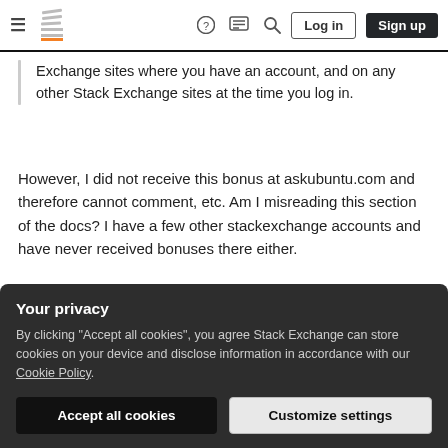Stack Exchange navigation bar with login and sign up buttons
Exchange sites where you have an account, and on any other Stack Exchange sites at the time you log in.
However, I did not receive this bonus at askubuntu.com and therefore cannot comment, etc. Am I misreading this section of the docs? I have a few other stackexchange accounts and have never received bonuses there either.
Also, in the docs:
Your privacy
By clicking "Accept all cookies", you agree Stack Exchange can store cookies on your device and disclose information in accordance with our Cookie Policy.
Accept all cookies
Customize settings
bonus mentioned above. In general, I think this section of the docs could use a bit of additional...